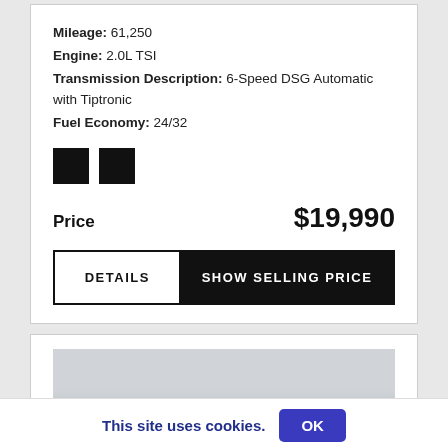Mileage: 61,250
Engine: 2.0L TSI
Transmission Description: 6-Speed DSG Automatic with Tiptronic
Fuel Economy: 24/32
[Figure (other): Two black color swatches]
Price   $19,990
DETAILS  |  SHOW SELLING PRICE
[Figure (photo): Partial view of a car listing card with a car image placeholder and car/phone icons]
This site uses cookies.  OK